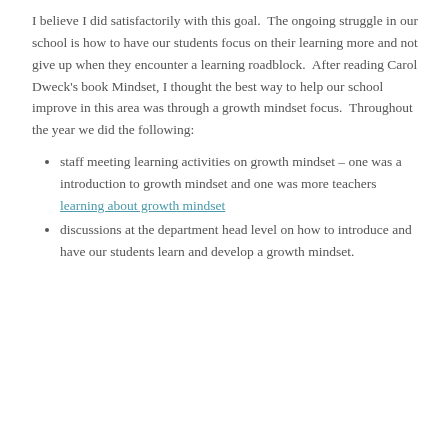I believe I did satisfactorily with this goal.  The ongoing struggle in our school is how to have our students focus on their learning more and not give up when they encounter a learning roadblock.  After reading Carol Dweck's book Mindset, I thought the best way to help our school improve in this area was through a growth mindset focus.  Throughout the year we did the following:
staff meeting learning activities on growth mindset – one was a introduction to growth mindset and one was more teachers learning about growth mindset
discussions at the department head level on how to introduce and have our students learn and develop a growth mindset.